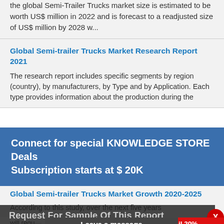the global Semi-Trailer Trucks market size is estimated to be worth US$ million in 2022 and is forecast to a readjusted size of US$ million by 2028 w...
Global Semi-trailer Trucks Market Research Report 2021
The research report includes specific segments by region (country), by manufacturers, by Type and by Application. Each type provides information about the production during the
Connect for special KNOWLEDGE STORE Deals Subscription starts at $ 20K
Global Semi-trailer Trucks Market Growth 2020-2025
According to this study, over the next five years
Request For Sample Of This Report
will requ... 2019. In
Buy Any Report Avail 20% Code:
Leave a message